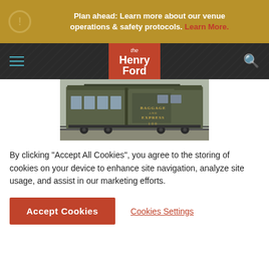Plan ahead: Learn more about our venue operations & safety protocols. Learn More.
[Figure (logo): The Henry Ford museum logo — white text on red/burnt-orange background]
[Figure (photo): Vintage railroad baggage and express car number 100, painted dark olive/green, with windows on left side and door with text 'BAGGAGE AND EXPRESS 100' on right side]
By clicking "Accept All Cookies", you agree to the storing of cookies on your device to enhance site navigation, analyze site usage, and assist in our marketing efforts.
Accept Cookies
Cookies Settings